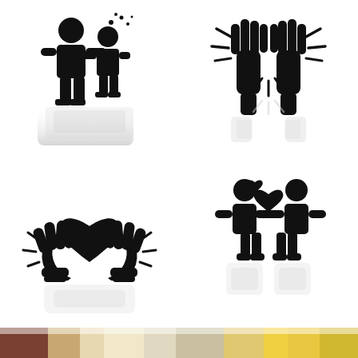[Figure (illustration): Four black glyph icons with drop shadows/reflections on white background: (1) top-left: two stick figures kissing/whispering with particles; (2) top-right: two hands giving a high five with motion lines; (3) bottom-left: two hands holding a heart with rays/sparkles; (4) bottom-right: two stick figures facing each other with a heart floating between them.]
[Figure (photo): Partial bottom strip showing a colorful photographic image, partially cropped at the bottom edge of the page.]